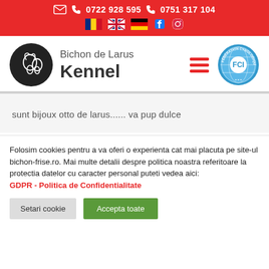0722 928 595   0751 317 104
[Figure (logo): Bichon de Larus Kennel logo with circular black dog silhouette badge, brand name text, hamburger menu icon, and FCI (Federation Cynologique Internationale) badge]
sunt bijoux otto de larus...... va pup dulce
Folosim cookies pentru a va oferi o experienta cat mai placuta pe site-ul bichon-frise.ro. Mai multe detalii despre politica noastra referitoare la protectia datelor cu caracter personal puteti vedea aici: GDPR - Politica de Confidentialitate
Setari cookie   Accepta toate